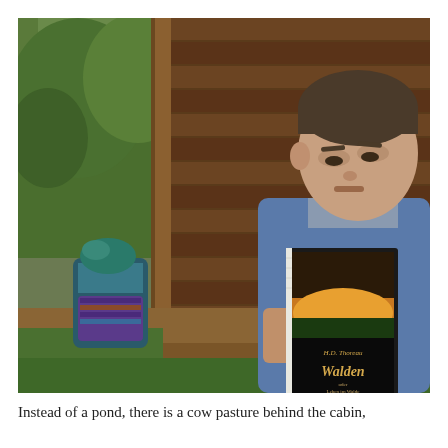[Figure (photo): A man sitting against the weathered wooden wall of a rustic log cabin, reading a copy of H.D. Thoreau's Walden. He is wearing a blue sweater and is seated on a wooden bench or ledge. A backpack with a teal/green item is visible to his left. Green grass and trees are visible in the background to the left.]
Instead of a pond, there is a cow pasture behind the cabin,